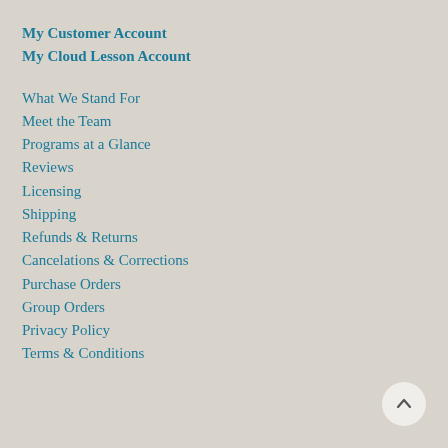My Customer Account
My Cloud Lesson Account
What We Stand For
Meet the Team
Programs at a Glance
Reviews
Licensing
Shipping
Refunds & Returns
Cancelations & Corrections
Purchase Orders
Group Orders
Privacy Policy
Terms & Conditions